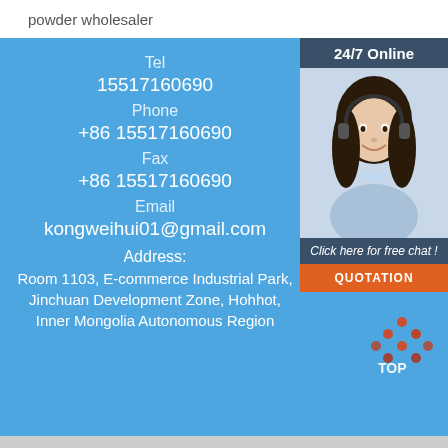powder wholesaler
Tel
15517160690
Phone
+86 15517160690
Fax
+86 15517160690
Email
kongweihui01@gmail.com
Address:
Room 1103, E-commerce Industrial Park, Jinchuan Development Zone, Hohhot, Inner Mongolia Autonomous Region
24/7 Online
[Figure (photo): Customer service representative woman wearing headset, smiling]
Click here for free chat !
QUOTATION
[Figure (logo): TOP logo with orange and red dots arranged in triangle pattern]